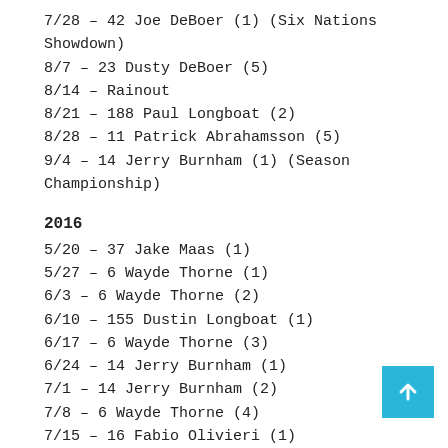7/28 – 42 Joe DeBoer (1) (Six Nations Showdown)
8/7 – 23 Dusty DeBoer (5)
8/14 – Rainout
8/21 – 188 Paul Longboat (2)
8/28 – 11 Patrick Abrahamsson (5)
9/4 – 14 Jerry Burnham (1) (Season Championship)
2016
5/20 – 37 Jake Maas (1)
5/27 – 6 Wayde Thorne (1)
6/3 – 6 Wayde Thorne (2)
6/10 – 155 Dustin Longboat (1)
6/17 – 6 Wayde Thorne (3)
6/24 – 14 Jerry Burnham (1)
7/1 – 14 Jerry Burnham (2)
7/8 – 6 Wayde Thorne (4)
7/15 – 16 Fabio Olivieri (1)
7/22 – 155 Dustin Longboat (2)
8/5 – Rainout
8/12 – Rainout